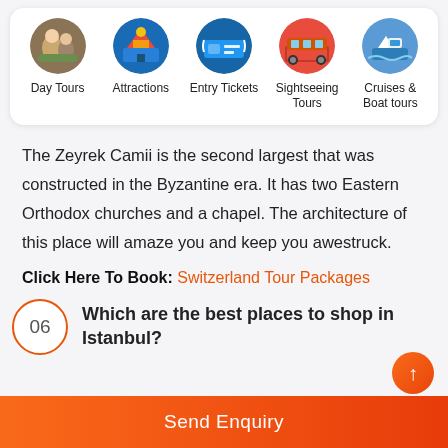[Figure (infographic): Navigation bar with 5 circular photo icons and labels: Day Tours, Attractions, Entry Tickets, Sightseeing Tours, Cruises & Boat tours]
The Zeyrek Camii is the second largest that was constructed in the Byzantine era. It has two Eastern Orthodox churches and a chapel. The architecture of this place will amaze you and keep you awestruck.
Click Here To Book: Switzerland Tour Packages
06 Which are the best places to shop in Istanbul?
Send Enquiry